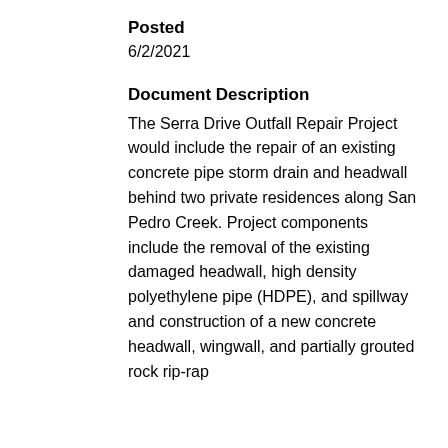Posted
6/2/2021
Document Description
The Serra Drive Outfall Repair Project would include the repair of an existing concrete pipe storm drain and headwall behind two private residences along San Pedro Creek. Project components include the removal of the existing damaged headwall, high density polyethylene pipe (HDPE), and spillway and construction of a new concrete headwall, wingwall, and partially grouted rock rip-rap